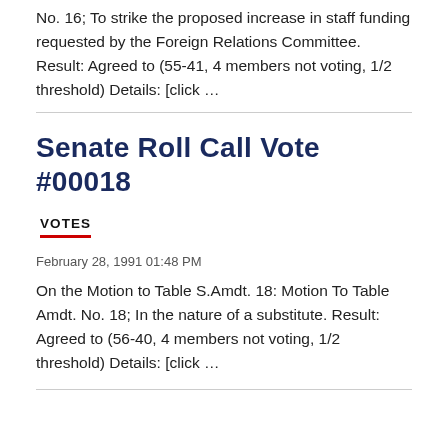No. 16; To strike the proposed increase in staff funding requested by the Foreign Relations Committee. Result: Agreed to (55-41, 4 members not voting, 1/2 threshold) Details: [click …
Senate Roll Call Vote #00018
VOTES
February 28, 1991 01:48 PM
On the Motion to Table S.Amdt. 18: Motion To Table Amdt. No. 18; In the nature of a substitute. Result: Agreed to (56-40, 4 members not voting, 1/2 threshold) Details: [click …